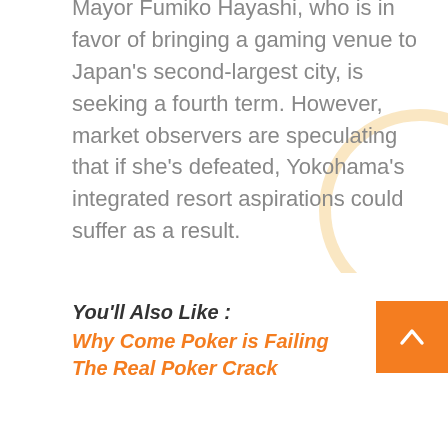Mayor Fumiko Hayashi, who is in favor of bringing a gaming venue to Japan's second-largest city, is seeking a fourth term. However, market observers are speculating that if she's defeated, Yokohama's integrated resort aspirations could suffer as a result.
Genting Singapore and Melco Resorts & Entertainment, both working with local partners, are vying for the Yokohama rights.
The post MGM, Japan Partner Orix Prepping $9.1 Billion Osaka IR Bid appeared first on Casino.org.
You'll Also Like : Why Come Poker is Failing The Real Poker Crack